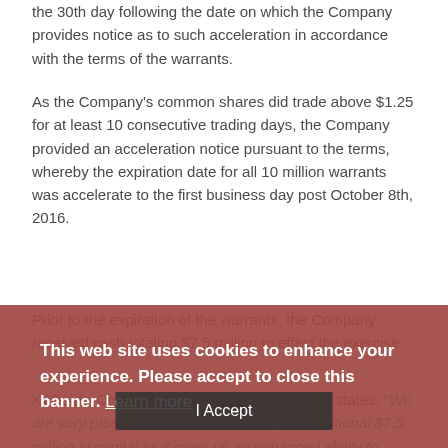the 30th day following the date on which the Company provides notice as to such acceleration in accordance with the terms of the warrants.
As the Company's common shares did trade above $1.25 for at least 10 consecutive trading days, the Company provided an acceleration notice pursuant to the terms, whereby the expiration date for all 10 million warrants was accelerate to the first business day post October 8th, 2016.
Prior to the expiration of the warrants, the Company received cash totaling $7.5 million to effect the exercise.
K2Gold's Chief Executive Officer, Ian Stalker, states, "We are very pleased with the injection of this additional $7.5 million in capital as it gives us an enhanced ability to target both resource expansion and production expansion. In particular, the additional capital will be useful as we commence the completion of the